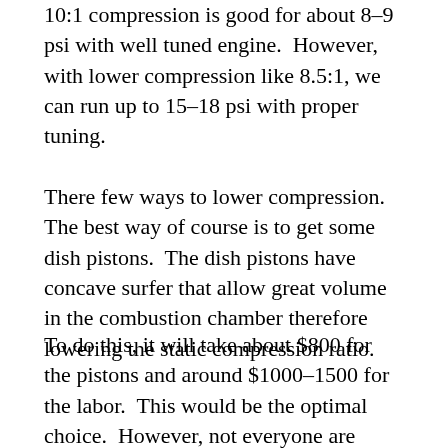10:1 compression is good for about 8-9 psi with well tuned engine.  However, with lower compression like 8.5:1, we can run up to 15-18 psi with proper tuning.
There few ways to lower compression.  The best way of course is to get some dish pistons.  The dish pistons have concave surfer that allow great volume in the combustion chamber therefore lowering the static compression ratio.
To do this, it will take about $800 for the pistons and around $1000-1500 for the labor.  This would be the optimal choice.  However, not everyone are willing to spend that amount